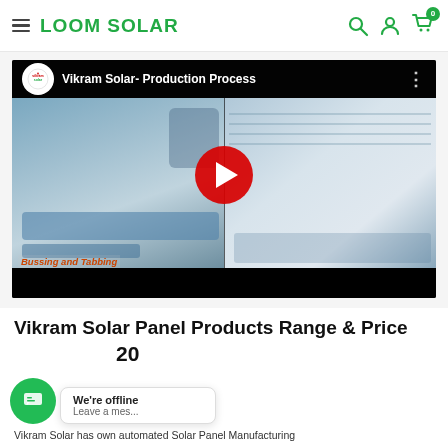LOOM SOLAR
[Figure (screenshot): YouTube video thumbnail for 'Vikram Solar- Production Process' showing workers in blue gloves doing bussing and tabbing on solar panels. A red YouTube play button is overlaid in the center. The video is split into two views.]
Vikram Solar Panel Products Range & Price
2020
We're offline
Leave a mes...
Vikram Solar has own automated Solar Panel Manufacturing